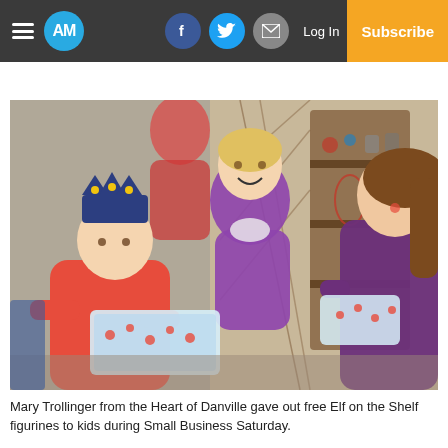AM | Log In | Subscribe
[Figure (photo): Children and a woman in a purple coat exchanging Elf on the Shelf figurines inside a shop decorated with jewelry and accessories during Small Business Saturday.]
Mary Trollinger from the Heart of Danville gave out free Elf on the Shelf figurines to kids during Small Business Saturday.